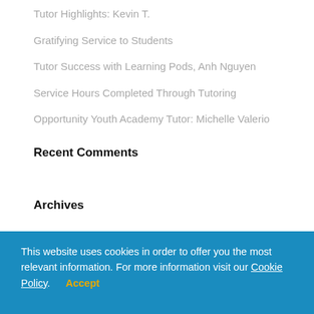Tutor Highlights: Kevin T.
Gratifying Service to Students
Tutor Success with Learning Pods, Anh Nguyen
Service Hours Completed Through Tutoring
Opportunity Youth Academy Tutor: Michelle Valerio
Recent Comments
Archives
This website uses cookies in order to offer you the most relevant information. For more information visit our Cookie Policy. Accept